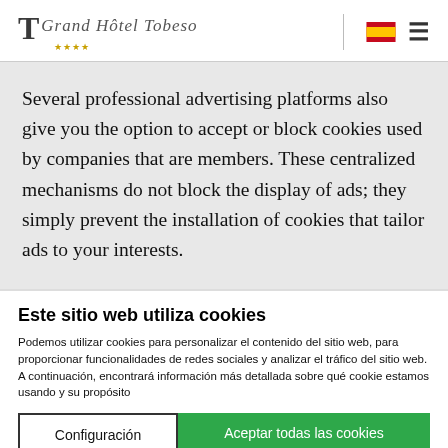Grand Hotel Toerro
Several professional advertising platforms also give you the option to accept or block cookies used by companies that are members. These centralized mechanisms do not block the display of ads; they simply prevent the installation of cookies that tailor ads to your interests.
Este sitio web utiliza cookies
Podemos utilizar cookies para personalizar el contenido del sitio web, para proporcionar funcionalidades de redes sociales y analizar el tráfico del sitio web. A continuación, encontrará información más detallada sobre qué cookie estamos usando y su propósito
Configuración | Aceptar todas las cookies